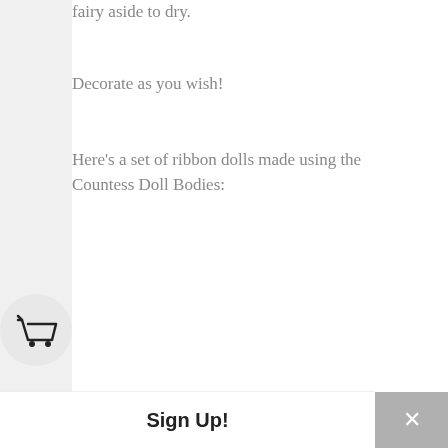fairy aside to dry.
Decorate as you wish!
Here's a set of ribbon dolls made using the Countess Doll Bodies:
[Figure (photo): Two Victorian-style ribbon dolls wearing ornate hats with feathers. The left doll wears a red dress and holds a gold heart-shaped sign reading 'BE MINE'. The right doll wears a pink dress and holds a gold heart-shaped sign reading 'KISS ME'.]
Sign Up!